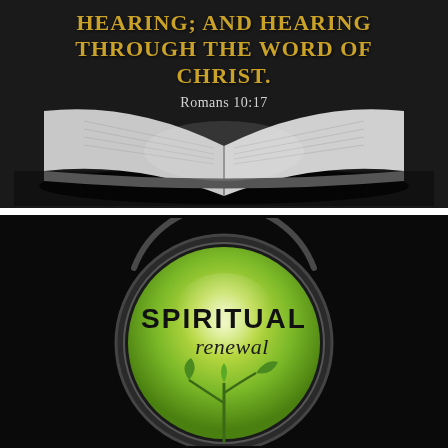[Figure (illustration): Dark background with open Bible book at bottom, gold and white text overlay showing Romans 10:17 quote about faith coming from hearing and hearing through the word of Christ.]
[Figure (illustration): Black background with a circular magnifying-lens style badge showing 'SPIRITUAL renewal' text with a green glowing background and a small green plant seedling growing inside the circle.]